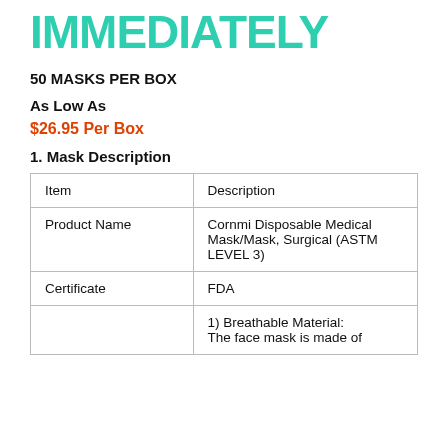IMMEDIATELY
50 MASKS PER BOX
As Low As
$26.95 Per Box
1. Mask Description
| Item | Description |
| --- | --- |
| Product Name | Cornmi Disposable Medical Mask/Mask, Surgical (ASTM LEVEL 3) |
| Certificate | FDA |
|  | 1) Breathable Material: The face mask is made of |